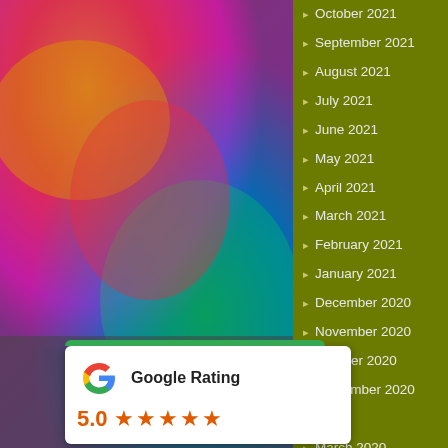[Figure (photo): Colorful abstract background photo on left panel]
October 2021
September 2021
August 2021
July 2021
June 2021
May 2021
April 2021
March 2021
February 2021
January 2021
December 2020
November 2020
October 2020
September 2020
[partially hidden] 20
March 2020
February 2020
[Figure (infographic): Google Rating widget showing 5.0 stars with five orange stars]